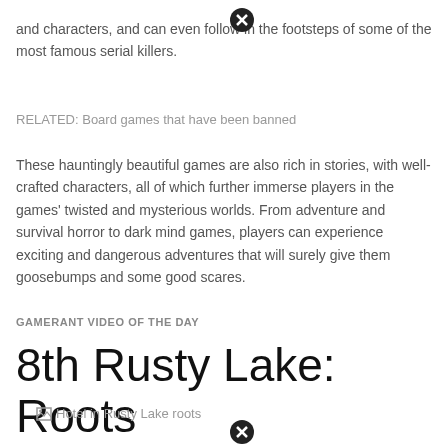and characters, and can even follow in the footsteps of some of the most famous serial killers.
RELATED: Board games that have been banned
These hauntingly beautiful games are also rich in stories, with well-crafted characters, all of which further immerse players in the games' twisted and mysterious worlds. From adventure and survival horror to dark mind games, players can experience exciting and dangerous adventures that will surely give them goosebumps and some good scares.
GAMERANT VIDEO OF THE DAY
8th Rusty Lake: Roots
[Figure (photo): Hotel in Rusty Lake roots - image placeholder with broken image icon]